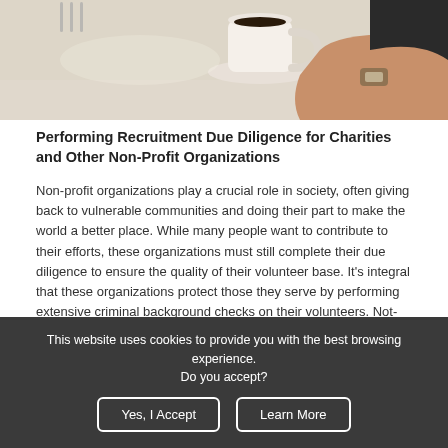[Figure (photo): Photo of a person holding a coffee cup on a table, viewed from above. Shows a hand and a white cup with dark coffee.]
Performing Recruitment Due Diligence for Charities and Other Non-Profit Organizations
Non-profit organizations play a crucial role in society, often giving back to vulnerable communities and doing their part to make the world a better place. While many people want to contribute to their efforts, these organizations must still complete their due diligence to ensure the quality of their volunteer base. It's integral that these organizations protect those they serve by performing extensive criminal background checks on their volunteers. Not-for-profit background checks play a crucial role in the recruitment process for charity or non-profit organizations.
Not-For-Profit Background Checks: Protect Your Charity's Mission
This website uses cookies to provide you with the best browsing experience. Do you accept?